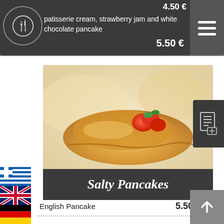patisserie cream, strawberry jam and white chocolate pancake — 5.50 €
[Figure (photo): Close-up food photo of salty pancakes with toppings on a white plate]
Salty Pancakes
English Pancake — 5.50 €
Pancake Sausage — 5.50 €
Turkey Pancake — 5.50 €
Spinach Pancake — 5.50 €